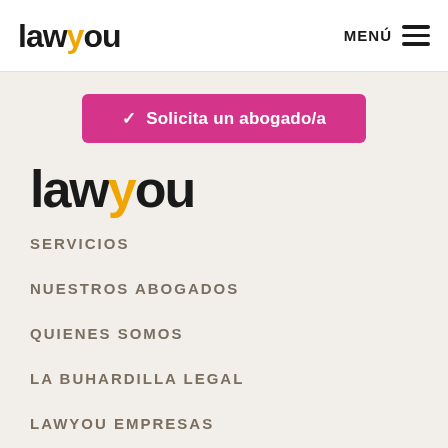[Figure (logo): Lawyou logo in header — bold black text with yellow 'y', followed by 'ou']
MENÚ ☰
✓ Solicita un abogado/a
[Figure (logo): Lawyou large logo — bold black text with yellow 'y']
SERVICIOS
NUESTROS ABOGADOS
QUIENES SOMOS
LA BUHARDILLA LEGAL
LAWYOU EMPRESAS